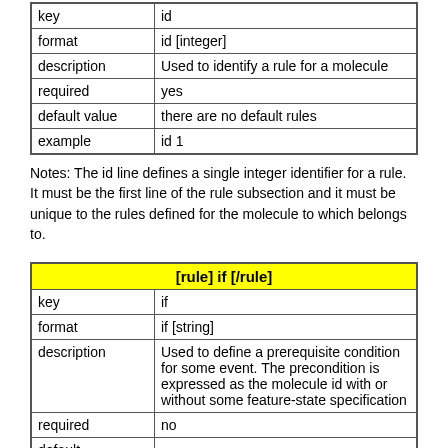| key | id |
| --- | --- |
| format | id [integer] |
| description | Used to identify a rule for a molecule |
| required | yes |
| default value | there are no default rules |
| example | id 1 |
Notes: The id line defines a single integer identifier for a rule. It must be the first line of the rule subsection and it must be unique to the rules defined for the molecule to which belongs to.
| [rule] if [/rule] |
| --- |
| key | if |
| format | if [string] |
| description | Used to define a prerequisite condition for some event. The precondition is expressed as the molecule id with or without some feature-state specification |
| required | no |
| default |  |